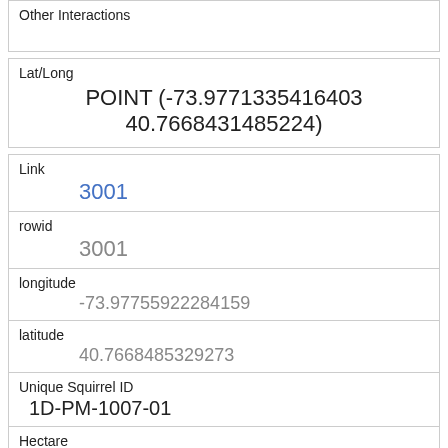Other Interactions
Lat/Long
POINT (-73.9771335416403 40.7668431485224)
Link
3001
rowid
3001
longitude
-73.97755922284159
latitude
40.7668485329273
Unique Squirrel ID
1D-PM-1007-01
Hectare
01D
Shift
PM
Date